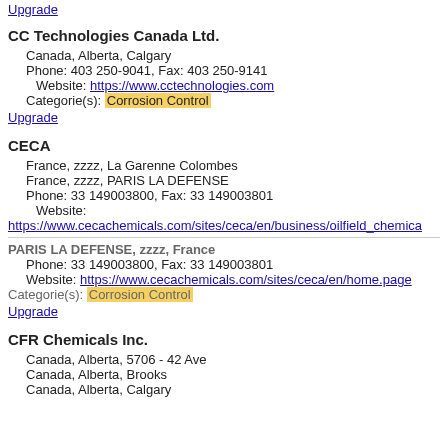Upgrade
CC Technologies Canada Ltd.
Canada, Alberta, Calgary
Phone: 403 250-9041, Fax: 403 250-9141
Website: https://www.cctechnologies.com
Categorie(s): Corrosion Control
Upgrade
CECA
France, zzzz, La Garenne Colombes
France, zzzz, PARIS LA DEFENSE
Phone: 33 149003800, Fax: 33 149003801
Website: https://www.cecachemicals.com/sites/ceca/en/business/oilfield_chemica
PARIS LA DEFENSE, zzzz, France
Phone: 33 149003800, Fax: 33 149003801
Website: https://www.cecachemicals.com/sites/ceca/en/home.page
Categorie(s): Corrosion Control
Upgrade
CFR Chemicals Inc.
Canada, Alberta, 5706 - 42 Ave
Canada, Alberta, Brooks
Canada, Alberta, Calgary